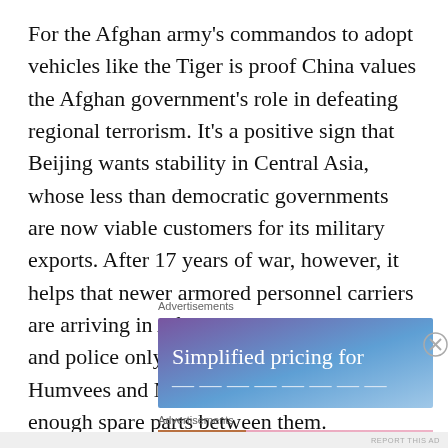For the Afghan army’s commandos to adopt vehicles like the Tiger is proof China values the Afghan government’s role in defeating regional terrorism. It’s a positive sign that Beijing wants stability in Central Asia, whose less than democratic governments are now viable customers for its military exports. After 17 years of war, however, it helps that newer armored personnel carriers are arriving in Afghanistan. Kabul’s soldiers and police only drive so many battered Humvees and MRAPs that don’t have enough spare parts between them.
Advertisements
[Figure (photo): Advertisement banner with purple-blue gradient background showing 'Simplified pricing for' text in white serif font]
Advertisements
[Figure (infographic): Victoria's Secret advertisement with pink background, showing a woman, VS logo, 'SHOP THE COLLECTION' text and 'SHOP NOW' button]